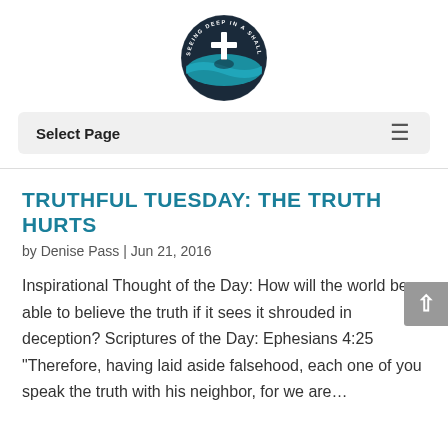[Figure (logo): Circular logo for 'Seeing Deep in a Shallow World' — dark navy/teal circle with a cross and wave/fish design, text around the border]
Select Page
TRUTHFUL TUESDAY: THE TRUTH HURTS
by Denise Pass | Jun 21, 2016
Inspirational Thought of the Day: How will the world be able to believe the truth if it sees it shrouded in deception? Scriptures of the Day: Ephesians 4:25 “Therefore, having laid aside falsehood, each one of you speak the truth with his neighbor, for we are…